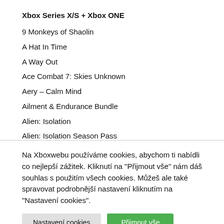Xbox Series X/S + Xbox ONE
9 Monkeys of Shaolin
A Hat In Time
A Way Out
Ace Combat 7: Skies Unknown
Aery – Calm Mind
Ailment & Endurance Bundle
Alien: Isolation
Alien: Isolation Season Pass
Alien: Isolation – The Collection
Alphaset by POWGI
Among Us
Na Xboxwebu používáme cookies, abychom ti nabídli co nejlepší zážitek. Kliknutí na "Přijmout vše" nám dáš souhlas s použitím všech cookies. Můžeš ale také spravovat podrobnější nastavení kliknutím na "Nastavení cookies".